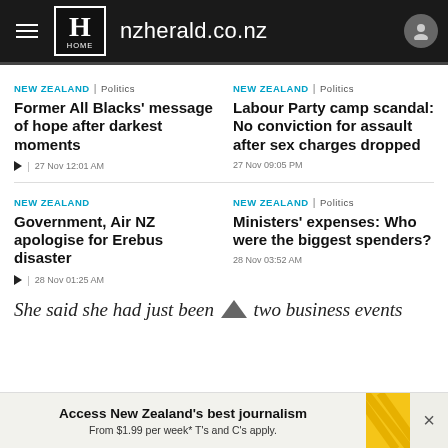nzherald.co.nz
NEW ZEALAND | Politics — Former All Blacks' message of hope after darkest moments — 27 Nov 12:01 AM
NEW ZEALAND | Politics — Labour Party camp scandal: No conviction for assault after sex charges dropped — 27 Nov 09:05 PM
NEW ZEALAND — Government, Air NZ apologise for Erebus disaster — 28 Nov 01:25 AM
NEW ZEALAND | Politics — Ministers' expenses: Who were the biggest spenders? — 28 Nov 03:52 AM
She said she had just been to two business events
Access New Zealand's best journalism From $1.99 per week* T's and C's apply.